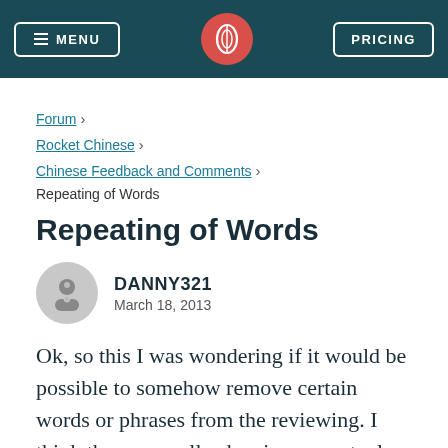MENU | [logo] | PRICING
Forum > Rocket Chinese > Chinese Feedback and Comments > Repeating of Words
Repeating of Words
DANNY321
March 18, 2013
Ok, so this I was wondering if it would be possible to somehow remove certain words or phrases from the reviewing. I think they are really skewing my actual skill level for a given lesson. Words such as: